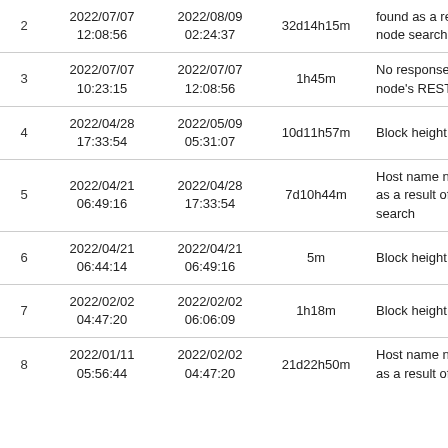| # | Start | End | Duration | Reason |
| --- | --- | --- | --- | --- |
| 2 | 2022/07/07
12:08:56 | 2022/08/09
02:24:37 | 32d14h15m | found as a result of node search |
| 3 | 2022/07/07
10:23:15 | 2022/07/07
12:08:56 | 1h45m | No response from the node's REST-API |
| 4 | 2022/04/28
17:33:54 | 2022/05/09
05:31:07 | 10d11h57m | Block height is low |
| 5 | 2022/04/21
06:49:16 | 2022/04/28
17:33:54 | 7d10h44m | Host name not found as a result of node search |
| 6 | 2022/04/21
06:44:14 | 2022/04/21
06:49:16 | 5m | Block height is low |
| 7 | 2022/02/02
04:47:20 | 2022/02/02
06:06:09 | 1h18m | Block height is low |
| 8 | 2022/01/11
05:56:44 | 2022/02/02
04:47:20 | 21d22h50m | Host name not found as a result of node |